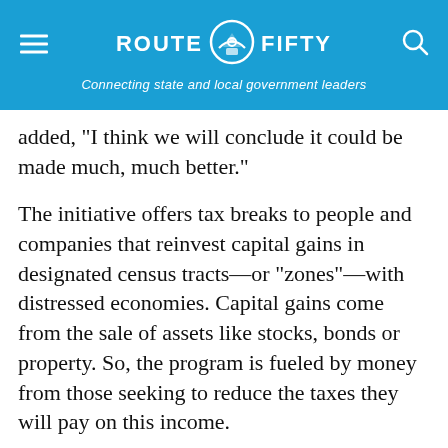ROUTE FIFTY — Connecting state and local government leaders
added, "I think we will conclude it could be made much, much better."
The initiative offers tax breaks to people and companies that reinvest capital gains in designated census tracts—or "zones"—with distressed economies. Capital gains come from the sale of assets like stocks, bonds or property. So, the program is fueled by money from those seeking to reduce the taxes they will pay on this income.
Investors Gravitate Toward Safer Bets